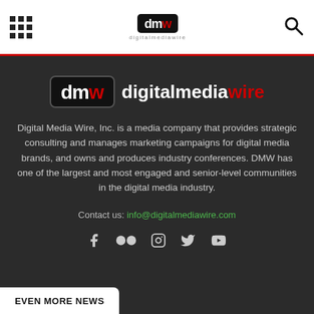digitalmediawire header with grid menu icon, DMW logo, and search icon
[Figure (logo): Digital Media Wire logo: DMW box logo in black and red on left, 'digitalmediawire' text on right in white and red]
Digital Media Wire, Inc. is a media company that provides strategic consulting and manages marketing campaigns for digital media brands, and owns and produces industry conferences. DMW has one of the largest and most engaged and senior-level communities in the digital media industry.
Contact us: info@digitalmediawire.com
[Figure (infographic): Social media icons row: Facebook, Flickr, Instagram, Twitter, YouTube]
EVEN MORE NEWS